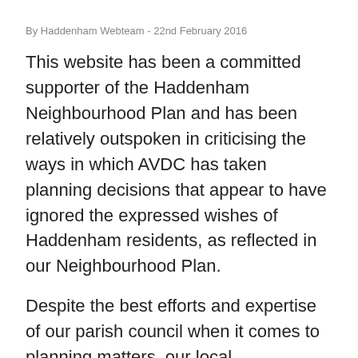By Haddenham Webteam - 22nd February 2016
This website has been a committed supporter of the Haddenham Neighbourhood Plan and has been relatively outspoken in criticising the ways in which AVDC has taken planning decisions that appear to have ignored the expressed wishes of Haddenham residents, as reflected in our Neighbourhood Plan.
Despite the best efforts and expertise of our parish council when it comes to planning matters, our local representatives have had limited success in seeking to influence important planning decisions. But this situation is far from unique to our village.
There is a fundamental imbalance in the planning system